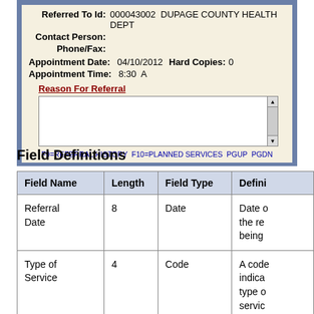[Figure (screenshot): A software screen showing referral fields: Referred To Id (000043002 DUPAGE COUNTY HEALTH DEPT), Contact Person, Phone/Fax, Appointment Date (04/10/2012), Hard Copies (0), Appointment Time (8:30 A), Reason For Referral text box, and function key bar F9=REFERRAL HISTORY F10=PLANNED SERVICES PGUP PGDN]
Field Definitions
| Field Name | Length | Field Type | Defini... |
| --- | --- | --- | --- |
| Referral Date | 8 | Date | Date o the re being |
| Type of Service | 4 | Code | A code indica type o servic which partici |